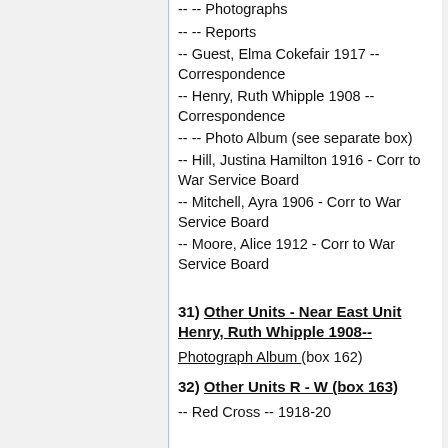-- -- Photographs
-- -- Reports
-- Guest, Elma Cokefair 1917 -- Correspondence
-- Henry, Ruth Whipple 1908 -- Correspondence
-- -- Photo Album (see separate box)
-- Hill, Justina Hamilton 1916 - Corr to War Service Board
-- Mitchell, Ayra 1906 - Corr to War Service Board
-- Moore, Alice 1912 - Corr to War Service Board
31) Other Units - Near East Unit Henry, Ruth Whipple 1908--
Photograph Album (box 162)
32) Other Units R - W (box 163)
-- Red Cross -- 1918-20